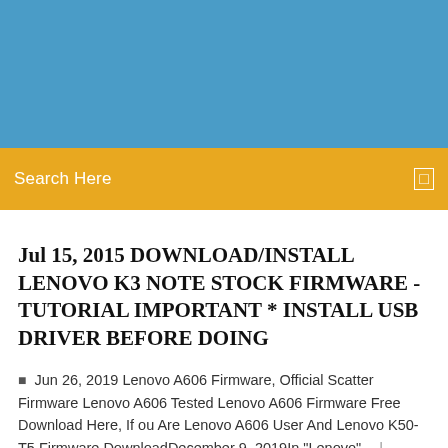[Figure (other): Blue header banner background]
Search Here
Jul 15, 2015 DOWNLOAD/INSTALL LENOVO K3 NOTE STOCK FIRMWARE - TUTORIAL IMPORTANT * INSTALL USB DRIVER BEFORE DOING
Jun 26, 2019 Lenovo A606 Firmware, Official Scatter Firmware Lenovo A606 Tested Lenovo A606 Firmware Free Download Here, If ou Are Lenovo A606 User And Lenovo K50-T5 Firmware DownloadDecember 9, 2019In "Lenovo".  |